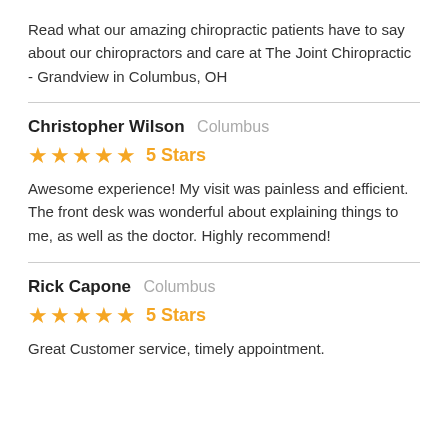Read what our amazing chiropractic patients have to say about our chiropractors and care at The Joint Chiropractic - Grandview in Columbus, OH
Christopher Wilson  Columbus
★★★★★  5 Stars
Awesome experience! My visit was painless and efficient. The front desk was wonderful about explaining things to me, as well as the doctor. Highly recommend!
Rick Capone  Columbus
★★★★★  5 Stars
Great Customer service, timely appointment.